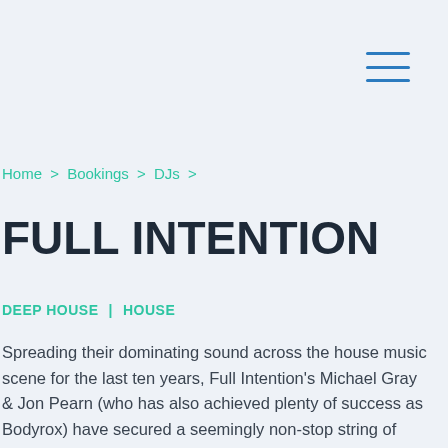[Figure (other): Hamburger menu icon with three horizontal blue lines in the top-right corner]
Home > Bookings > DJs >
FULL INTENTION
DEEP HOUSE  |   HOUSE
Spreading their dominating sound across the house music scene for the last ten years, Full Intention's Michael Gray & Jon Pearn (who has also achieved plenty of success as Bodyrox) have secured a seemingly non-stop string of successful Top 40 releases and remixes. They are truly a pair of global superstars who have worked with the best in the